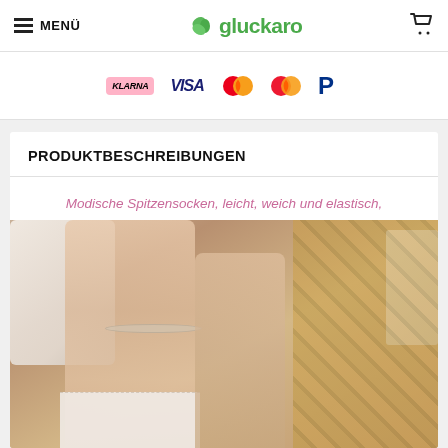≡ MENÜ  gluckaro  🛒
[Figure (infographic): Payment method logos: Klarna, VISA, Mastercard (two variants), PayPal]
PRODUKTBESCHREIBUNGEN
Modische Spitzensocken, leicht, weich und elastisch, bequem und atmungsaktiv, sexy und vielseitig.
[Figure (photo): Close-up photo of a person's feet/ankles wearing lace socks and an anklet bracelet, with a wooden mat and pillow in the background.]